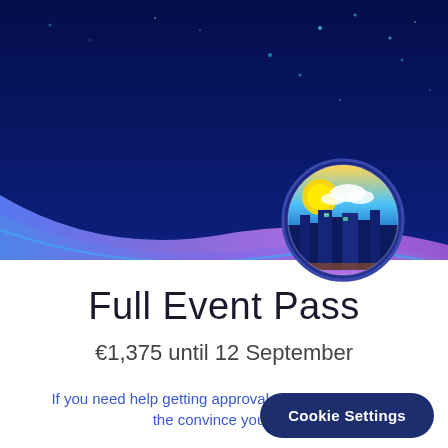[Figure (illustration): Dark blue night sky hero background with small star/dot accents and a purple-blue wave transition at the bottom. A circular badge illustration showing a city skyline at dusk with sun, clouds, and colorful gradient is overlaid on the right side.]
Full Event Pass
€1,375 until 12 September
If you need help getting approval to attend, try using the convince your ma
Cookie Settings